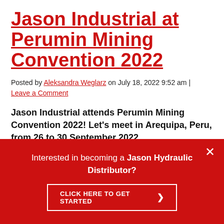Jason Industrial at Perumin Mining Convention 2022
Posted by Aleksandra Weglarz on July 18, 2022 9:52 am | Leave a Comment
Jason Industrial attends Perumin Mining Convention 2022! Let's meet in Arequipa, Peru, from 26 to 30 September 2022.
Interested in becoming a Jason Hydraulic Distributor? CLICK HERE TO GET STARTED